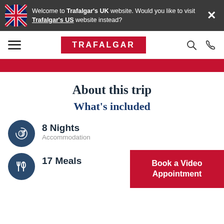Welcome to Trafalgar's UK website. Would you like to visit Trafalgar's US website instead?
[Figure (logo): Trafalgar travel company logo in red rectangle with white text]
About this trip
What's included
8 Nights - Accommodation
17 Meals
Book a Video Appointment